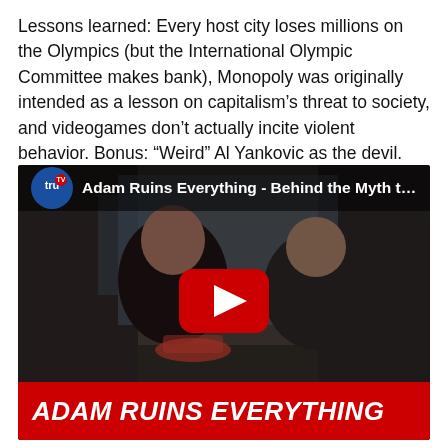Lessons learned: Every host city loses millions on the Olympics (but the International Olympic Committee makes bank), Monopoly was originally intended as a lesson on capitalism's threat to society, and videogames don't actually incite violent behavior. Bonus: "Weird" Al Yankovic as the devil.
[Figure (screenshot): YouTube video thumbnail for 'Adam Ruins Everything - Behind the Myth that...' on truTV channel. Shows two men in a room, one holding a plate of food, YouTube play button overlay in center, red banner at bottom reading 'ADAM RUINS EVERYTHING'.]